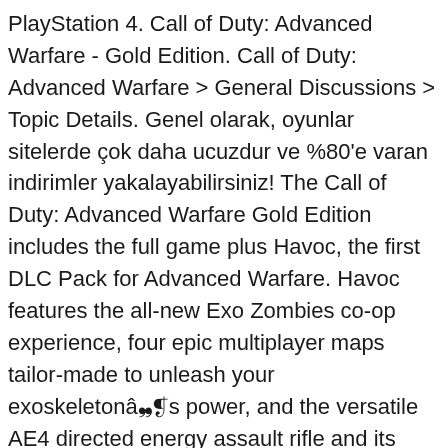PlayStation 4. Call of Duty: Advanced Warfare - Gold Edition. Call of Duty: Advanced Warfare > General Discussions > Topic Details. Genel olarak, oyunlar sitelerde çok daha ucuzdur ve %80'e varan indirimler yakalayabilirsiniz! The Call of Duty: Advanced Warfare Gold Edition includes the full game plus Havoc, the first DLC Pack for Advanced Warfare. Havoc features the all-new Exo Zombies co-op experience, four epic multiplayer maps tailor-made to unleash your exoskeletonâ��s power, and the versatile AE4 directed energy assault rifle and its custom variant, the Widowmaker. Delivering a stunning performance, Academy Award® winning actor Kevin Spacey stars as Jonathan Irons â�� one of the most powerful men in the world â�� shaping this chilling vision of the future of war. A â�� Call of duty advanced warfare gold edition includes a complete digital copy of the game along with the Havoc DLC pack and Atlas Gorge Multiplayer Map for Xbox 360 gamers. Havoc features the all-new Exo Zombies co-op experience, four epic multiplayer maps tailor-made to unleash